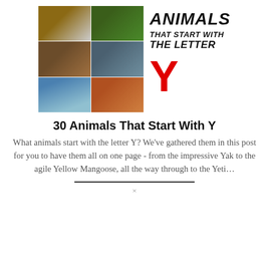[Figure (photo): Collage of animal photos: dog, ant on leaf, Yorkshire terrier, bird feathers/crab, fish, yak, cat]
[Figure (illustration): Text graphic reading ANIMALS THAT START WITH THE LETTER Y in bold italic black with a large red Y]
30 Animals That Start With Y
What animals start with the letter Y? We've gathered them in this post for you to have them all on one page - from the impressive Yak to the agile Yellow Mangoose, all the way through to the Yeti...